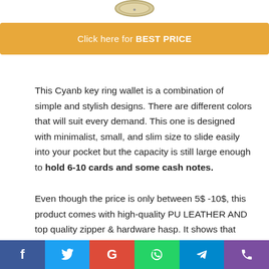[Figure (other): Partial view of a product coin/emblem at top of page]
Click here for BEST PRICE
This Cyanb key ring wallet is a combination of simple and stylish designs. There are different colors that will suit every demand. This one is designed with minimalist, small, and slim size to slide easily into your pocket but the capacity is still large enough to hold 6-10 cards and some cash notes.
Even though the price is only between 5$ -10$, this product comes with high-quality PU LEATHER AND top quality zipper & hardware hasp. It shows that this wallet can last long without needed replacement. The stitching
[Figure (other): Social media sharing bar at bottom: Facebook, Twitter, Google, WhatsApp, Telegram, Phone/Call icons]